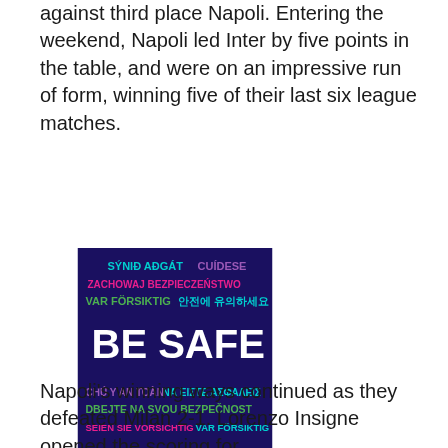against third place Napoli. Entering the weekend, Napoli led Inter by five points in the table, and were on an impressive run of form, winning five of their last six league matches.
[Figure (infographic): A dark navy blue square containing the phrase 'BE SAFE' in large white bold text, surrounded by translations of 'be safe' in multiple languages and colors: SÝNIÐ AÐGÁT (cyan), CUÍDESE (purple), ZACHOWAJ BEZPIECZEŃSTWO (magenta/pink), VAR FÖRSIKTIG (green), 안전에 유의하세요 (cyan), CHÚ Y AN TOÀN (purple), ΝΑ ΕΙΣΤΕ ΑΣΦΑΛΕΙΣ (cyan), DBEJTE NA SVOU BEZPEČNOST (green), SEIEN SIE VORSICHTIG (magenta), VAR FÖRSIKTIG (cyan)]
Napoli's winning ways continued as they defeated Milan 2-1. Lorenzo Insigne opened the scoring for